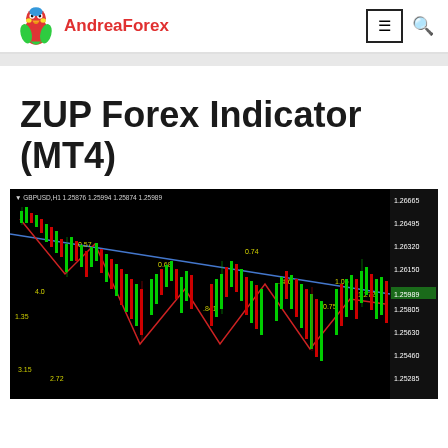AndreaForex
ZUP Forex Indicator (MT4)
[Figure (screenshot): GBPUSD H1 chart in MetaTrader 4 displaying the ZUP Forex Indicator with Fibonacci harmonic pattern lines (red and blue), candlestick bars in green/red on black background, with labeled ratio values: 0.57, 0.68, 0.74, 4.0, 1.35, .841, .886, 0.75, 1.06, 1.272, 3.15, 2.72 and price levels on right axis ranging from approximately 1.25285 to 1.26665. Header shows: GBPUSD,H1 1.25876 1.25994 1.25874 1.25989]